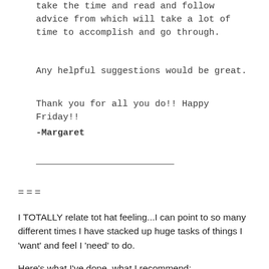take the time and read and follow advice from which will take a lot of time to accomplish and go through.
Any helpful suggestions would be great.
Thank you for all you do!! Happy Friday!!
-Margaret
===
I TOTALLY relate tot hat feeling...I can point to so many different times I have stacked up huge tasks of things I ‘want’ and feel I ‘need’ to do.
Here’s what I’ve done, what I recommend:
1st – LET IT GO AND START OVER!